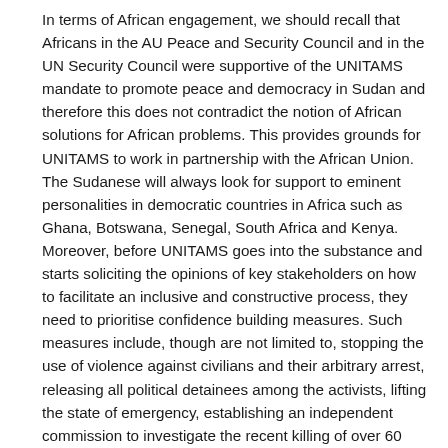In terms of African engagement, we should recall that Africans in the AU Peace and Security Council and in the UN Security Council were supportive of the UNITAMS mandate to promote peace and democracy in Sudan and therefore this does not contradict the notion of African solutions for African problems. This provides grounds for UNITAMS to work in partnership with the African Union. The Sudanese will always look for support to eminent personalities in democratic countries in Africa such as Ghana, Botswana, Senegal, South Africa and Kenya. Moreover, before UNITAMS goes into the substance and starts soliciting the opinions of key stakeholders on how to facilitate an inclusive and constructive process, they need to prioritise confidence building measures. Such measures include, though are not limited to, stopping the use of violence against civilians and their arbitrary arrest, releasing all political detainees among the activists, lifting the state of emergency, establishing an independent commission to investigate the recent killing of over 60 young people, opening the bridges, restoring the internet and respecting freedom of the media and peaceful assembly. Agreement on these measures would be an important first step to